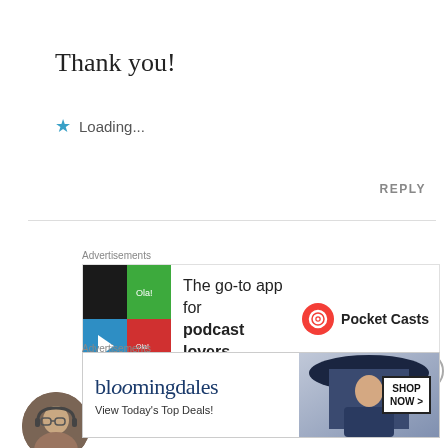Thank you!
★ Loading...
REPLY
Advertisements
[Figure (other): Pocket Casts advertisement: colorful app icon grid, text 'The go-to app for podcast lovers.' with Pocket Casts logo]
REPORT THIS AD
mammasquirrel
FEBRUARY 12, 2017 AT 1:27 PM
Advertisements
[Figure (other): Bloomingdale's advertisement: View Today's Top Deals! with SHOP NOW button and woman in blue hat]